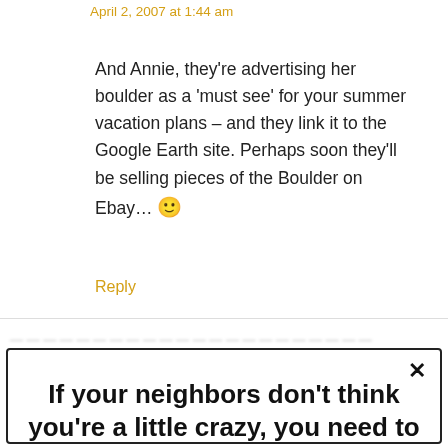April 2, 2007 at 1:44 am
And Annie, they're advertising her boulder as a 'must see' for your summer vacation plans – and they link it to the Google Earth site. Perhaps soon they'll be selling pieces of the Boulder on Ebay… 🙂
Reply
[Figure (other): Advertisement popup box with bold text: If your neighbors don't think you're a little crazy, you need to up your gardening game! with a close (×) button in the top-right corner.]